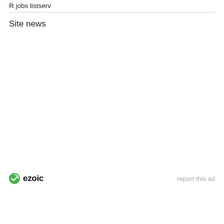R jobs listserv
Site news
ezoic   report this ad